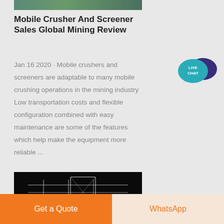[Figure (photo): Partial view of mining equipment image at top of page]
Mobile Crusher And Screener Sales Global Mining Review
Jan 16 2020 · Mobile crushers and screeners are adaptable to many mobile crushing operations in the mining industry Low transportation costs and flexible configuration combined with easy maintenance are some of the features which help make the equipment more reliable ...
[Figure (illustration): Live Chat speech bubble icon with teal and dark blue colors, text reading LIVE CHAT]
[Figure (photo): Dark black image of industrial equipment or screener machinery]